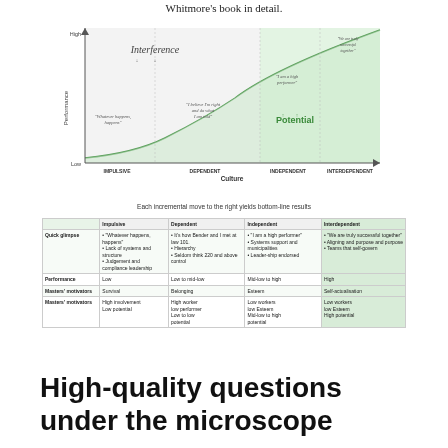Whitmore's book in detail.
[Figure (infographic): Performance vs Culture matrix showing Interference zone (high performance, low culture) and Potential zone (high culture, high performance). Four quadrants labeled Impulsive, Dependent, Independent, Interdependent along Culture axis. Quotes in each quadrant. Exponential curve divides Interference from Potential.]
Each incremental move to the right yields bottom-line results
|  | Impulsive | Dependent | Independent | Interdependent |
| --- | --- | --- | --- | --- |
| Quick glimpse | • 'Whatever happens, happens'
• Lack of systems and structure
• Judgement and compliance leadership | • It's how Bender and I met at law 101.
• Hierarchy
• Seldom think 220 and above control | • 'I am a high performer'
• Systems support and municipalities
• Leader-ship endorsed | • 'We are truly successful together'
• Aligning and purpose and purpose
• Teams that self-govern |
| Performance | Low | Low to mid-low | Mid-low to high | High |
| Masters' motivators | Survival | Belonging | Esteem | Self-actualisation |
| Masters' motivators | High involvement
Low potential | High worker
low performer
Low to low
potential | Low workers
low Esteem
Mid-low to high
potential | Low workers
low Esteem
High potential |
High-quality questions under the microscope